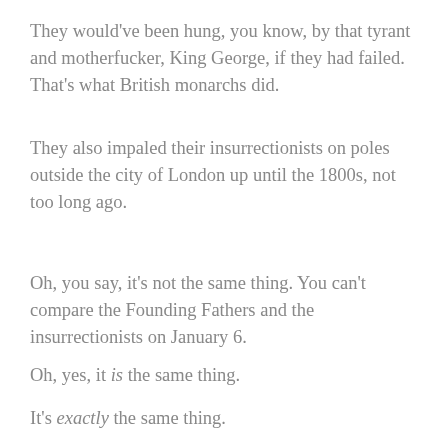They would've been hung, you know, by that tyrant and motherfucker, King George, if they had failed. That's what British monarchs did.
They also impaled their insurrectionists on poles outside the city of London up until the 1800s, not too long ago.
Oh, you say, it's not the same thing. You can't compare the Founding Fathers and the insurrectionists on January 6.
Oh, yes, it is the same thing.
It's exactly the same thing.
The the...